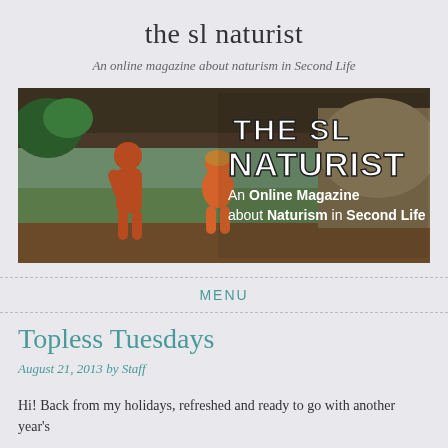the sl naturist
An online magazine about naturism in Second Life
[Figure (illustration): Banner image for The SL Naturist showing two 3D animated female figures from behind in an outdoor tropical setting, with large white bold text reading 'THE SL NATURIST An Online Magazine about Naturism in Second Life']
MENU
Topless Tuesdays
August 21, 2013 by Staff
Hi! Back from my holidays, refreshed and ready to go with another year's